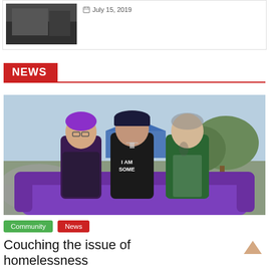[Figure (photo): Thumbnail photo of a dark scene, possibly outdoors, with a calendar icon and date]
July 15, 2019
NEWS
[Figure (photo): Three people sitting on a purple couch outdoors at what appears to be a community event/skate park. The person in the middle is wearing a black shirt with 'I AM SOME' visible. The person on the left has purple hair and dark clothing. The person on the right is wearing a green jacket.]
Community
News
Couching the issue of homelessness